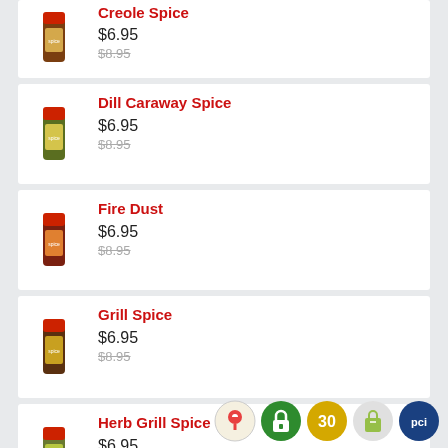[Figure (photo): Creole Spice product listing (partial, top cut off) with spice bottle image]
Creole Spice
$6.95
$8.95 (strikethrough)
[Figure (photo): Dill Caraway Spice product listing with spice bottle image]
Dill Caraway Spice
$6.95
$8.95 (strikethrough)
[Figure (photo): Fire Dust product listing with spice bottle image]
Fire Dust
$6.95
$8.95 (strikethrough)
[Figure (photo): Grill Spice product listing with spice bottle image]
Grill Spice
$6.95
$8.95 (strikethrough)
[Figure (photo): Herb Grill Spice product listing with spice bottle image]
Herb Grill Spice
$6.95
$8.95 (strikethrough)
[Figure (logo): Footer trust/app icons: map pin, green lock, gold 30, Shopify bag, PCI badge]